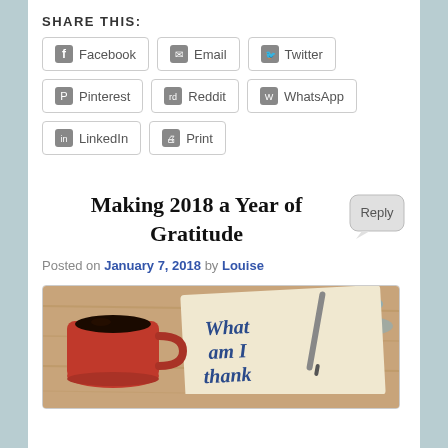SHARE THIS:
Facebook | Email | Twitter | Pinterest | Reddit | WhatsApp | LinkedIn | Print
Making 2018 a Year of Gratitude
Reply
Posted on January 7, 2018 by Louise
[Figure (photo): Photo of a red coffee mug with black coffee and a napkin with text 'What am I thankful...' written in blue serif font, with a pen, on a wooden table with blue paint marks.]